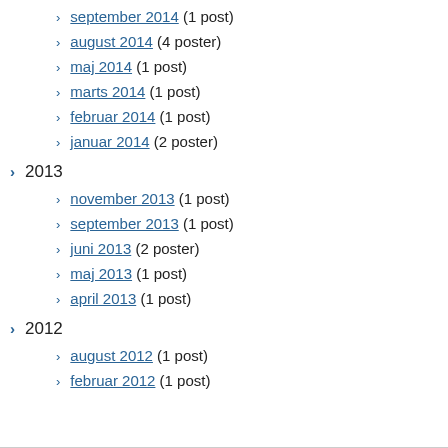september 2014 (1 post)
august 2014 (4 poster)
maj 2014 (1 post)
marts 2014 (1 post)
februar 2014 (1 post)
januar 2014 (2 poster)
2013
november 2013 (1 post)
september 2013 (1 post)
juni 2013 (2 poster)
maj 2013 (1 post)
april 2013 (1 post)
2012
august 2012 (1 post)
februar 2012 (1 post)